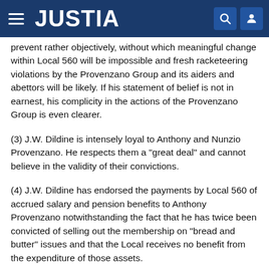JUSTIA
prevent rather objectively, without which meaningful change within Local 560 will be impossible and fresh racketeering violations by the Provenzano Group and its aiders and abettors will be likely. If his statement of belief is not in earnest, his complicity in the actions of the Provenzano Group is even clearer.
(3) J.W. Dildine is intensely loyal to Anthony and Nunzio Provenzano. He respects them a "great deal" and cannot believe in the validity of their convictions.
(4) J.W. Dildine has endorsed the payments by Local 560 of accrued salary and pension benefits to Anthony Provenzano notwithstanding the fact that he has twice been convicted of selling out the membership on "bread and butter" issues and that the Local receives no benefit from the expenditure of those assets.